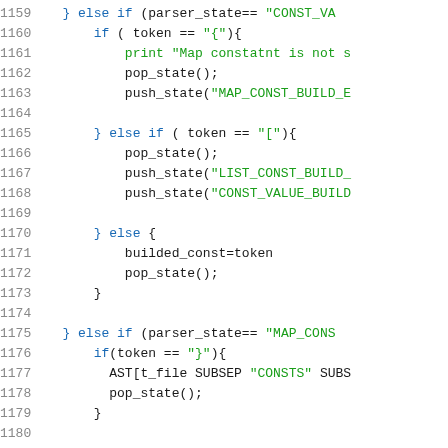[Figure (screenshot): Source code viewer showing lines 1159-1179 of a parser implementation in AWK or similar language. Line numbers appear in grey on the left, code in dark/blue/green monospace font on the right. Green text indicates string literals, blue indicates keywords.]